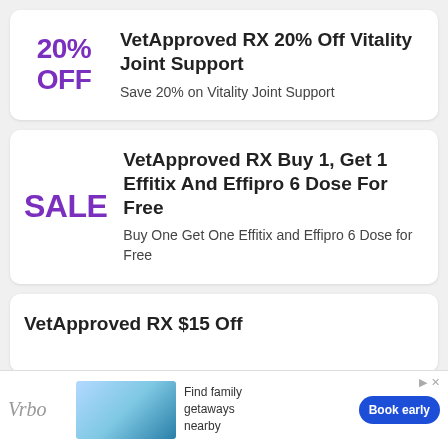VetApproved RX 20% Off Vitality Joint Support
Save 20% on Vitality Joint Support
VetApproved RX Buy 1, Get 1 Effitix And Effipro 6 Dose For Free
Buy One Get One Effitix and Effipro 6 Dose for Free
VetApproved RX $15 Off
[Figure (infographic): Advertisement banner for Vrbo vacation rentals with logo, beach photo, 'Find family getaways nearby' text, and 'Book early' button]